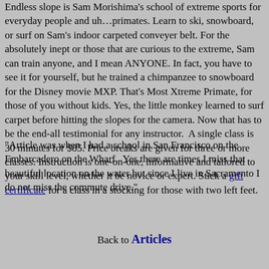Endless slope is Sam Morishima's school of extreme sports for everyday people and uh…primates. Learn to ski, snowboard, or surf on Sam's indoor carpeted conveyer belt. For the absolutely inept or those that are curious to the extreme, Sam can train anyone, and I mean ANYONE. In fact, you have to see it for yourself, but he trained a chimpanzee to snowboard for the Disney movie MXP. That's Most Xtreme Primate, for those of you without kids. Yes, the little monkey learned to surf carpet before hitting the slopes for the camera. Now that has to be the end-all testimonial for any instructor.  A single class is 30 minutes for $85. Price breaks are given for three or more classes. Instruction is one-on-one, informative and tailored to your skill level, whether it be novice or expert. Stick a gift certificate for a class in a stocking for those with two left feet.
"Article was when I had a school in San Francisco on the Embarcadero on the Wharf.  Yes there are times I miss that beautiful location on the water but since I live in Sacramento I do not miss the commute drive."
Back to Articles